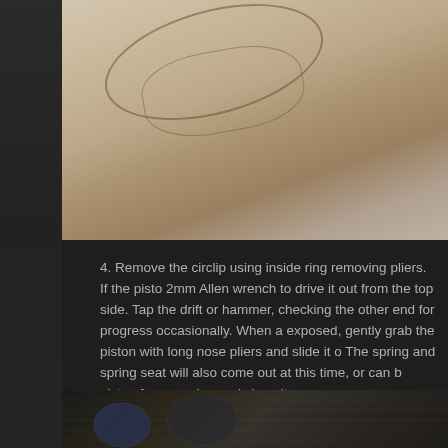[Figure (photo): Close-up photo of what appears to be a piston or engine component sketch/drawing on light fabric or paper background]
4. Remove the circlip using inside ring removing pliers. If the piston is stuck, use a 2mm Allen wrench to drive it out from the top side. Tap the drift or wrench with a hammer, checking the other end for progress occasionally. When a bit of the pin is exposed, gently grab the piston with long nose pliers and slide it out by hand. The spring and spring seat will also come out at this time, or can be retrieved. Inspect the piston for corrosion and clean it.
[Figure (photo): Photo of brake caliper piston removal tools including long nose pliers, circlip pliers, and other tools laid out on a work mat]